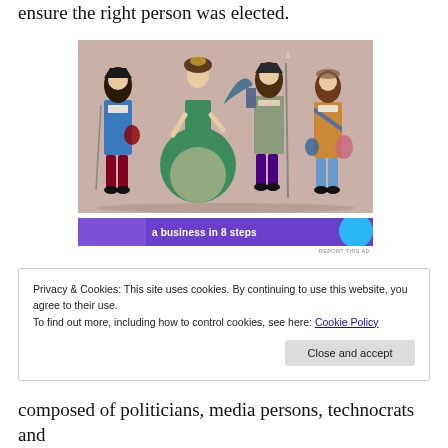ensure the right person was elected.
[Figure (illustration): Historical illustration of four figures in ornate 17th/18th century European court costumes with wigs, feathered hats, and elaborate clothing.]
[Figure (screenshot): Advertisement banner with purple background and text 'a business in 8 steps' with a cyan circle graphic on the right.]
REPORT THIS AD
Privacy & Cookies: This site uses cookies. By continuing to use this website, you agree to their use.
To find out more, including how to control cookies, see here: Cookie Policy
Close and accept
composed of politicians, media persons, technocrats and